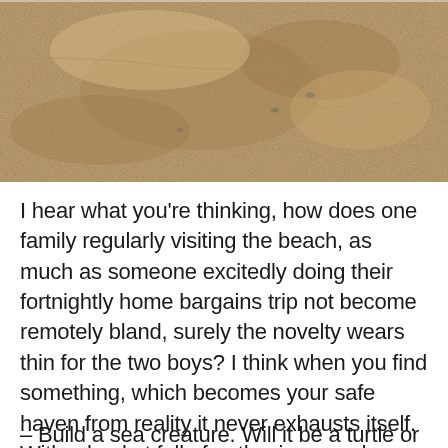[Figure (photo): Close-up photograph of sandy beach surface, showing tan/beige textured sand with small pebbles and surface disturbances.]
I hear what you're thinking, how does one family regularly visiting the beach, as much as someone excitedly doing their fortnightly home bargains trip not become remotely bland, surely the novelty wears thin for the two boys? I think when you find something, which becomes your safe haven from reality it never exhausts itself. With a bucket full of enthusiasm and a spade here is what you can do:
– Build a sea creature. Will it be a turtle or dolphin?